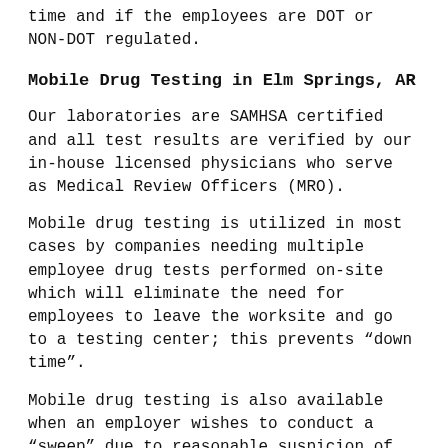time and if the employees are DOT or NON-DOT regulated.
Mobile Drug Testing in Elm Springs, AR
Our laboratories are SAMHSA certified and all test results are verified by our in-house licensed physicians who serve as Medical Review Officers (MRO).
Mobile drug testing is utilized in most cases by companies needing multiple employee drug tests performed on-site which will eliminate the need for employees to leave the worksite and go to a testing center; this prevents “down time”.
Mobile drug testing is also available when an employer wishes to conduct a “sweep” due to reasonable suspicion of drug use in the workplace.
Mobile drug testing services are also utilized for post-